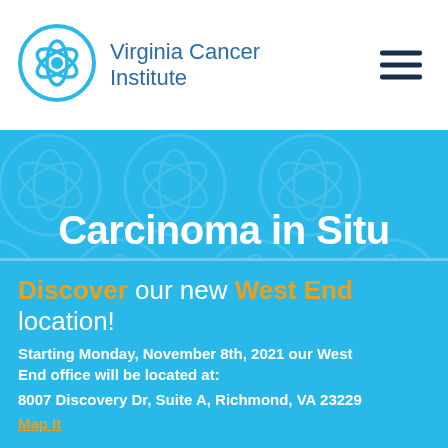[Figure (logo): Virginia Cancer Institute logo — circular blue emblem with stylized ribbon/leaf design]
Virginia Cancer Institute
Carcinoma in Situ
Discover our new West End location! Starting Monday, November 8th, 2021 our West End office will be located at: 8007 Discovery Dr, Suite A, Richmond, VA 23229 Map It